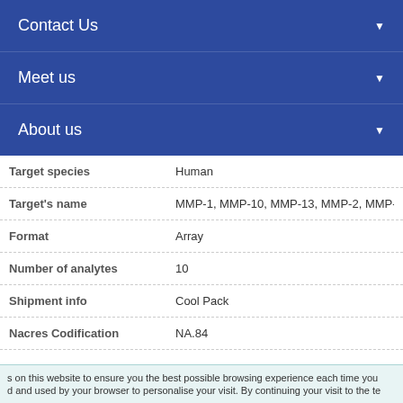Contact Us
Meet us
About us
| Field | Value |
| --- | --- |
| Target species | Human |
| Target's name | MMP-1, MMP-10, MMP-13, MMP-2, MMP-3... |
| Format | Array |
| Number of analytes | 10 |
| Shipment info | Cool Pack |
| Nacres Codification | NA.84 |
on this website to ensure you the best possible browsing experience each time you visit and used by your browser to personalise your visit. By continuing your visit to the te...